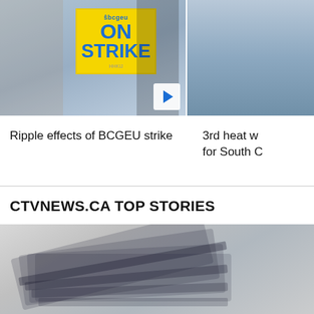[Figure (photo): Person holding BCGEU ON STRIKE yellow sign with play button overlay]
[Figure (photo): Heat wave related photo, partially visible on right side]
Ripple effects of BCGEU strike
3rd heat w... for South C...
CTVNEWS.CA TOP STORIES
[Figure (photo): Stack of papers/cards, blurred close-up photograph]